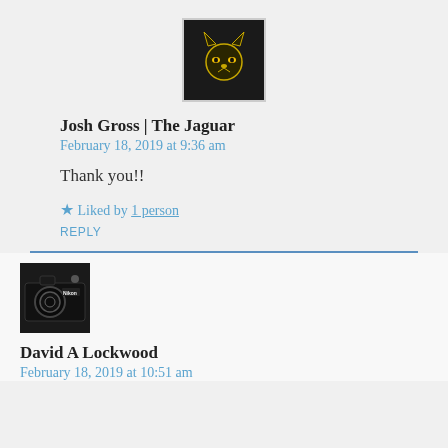[Figure (photo): Avatar image for Josh Gross | The Jaguar — black background with a gold jaguar face logo]
Josh Gross | The Jaguar
February 18, 2019 at 9:36 am
Thank you!!
★ Liked by 1 person
REPLY
[Figure (photo): Avatar image for David A Lockwood — close-up of a Nikon camera]
David A Lockwood
February 18, 2019 at 10:51 am